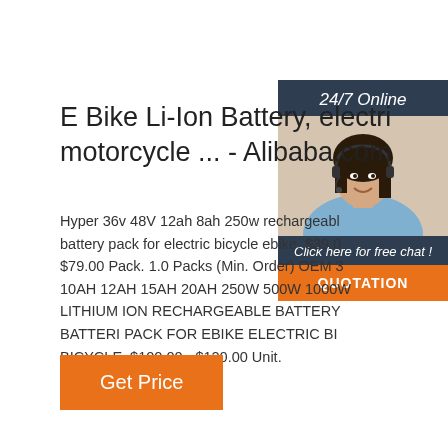E Bike Li-Ion Battery, electri motorcycle ... - Alibaba.com
Hyper 36v 48V 12ah 8ah 250w rechargeable battery pack for electric bicycle ebike. $39.00 - $79.00 Pack. 1.0 Packs (Min. Order) OEM 3 10AH 12AH 15AH 20AH 250W 500W 1000W LITHIUM ION RECHARGEABLE BATTERY BATTERI PACK FOR EBIKE ELECTRIC BI BICYCLE. $100.00 - $120.00 Unit.
[Figure (photo): Customer service woman with headset, dark hair, smiling, with '24/7 Online' banner, 'Click here for free chat!' text, and orange QUOTATION button]
Get Price